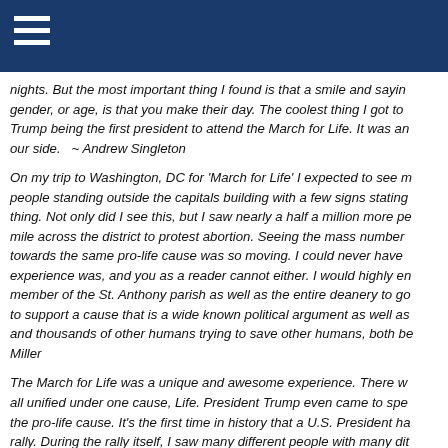nights. But the most important thing I found is that a smile and saying gender, or age, is that you make their day. The coolest thing I got to Trump being the first president to attend the March for Life. It was an our side.   ~ Andrew Singleton
On my trip to Washington, DC for ‘March for Life’ I expected to see m people standing outside the capitals building with a few signs stating thing. Not only did I see this, but I saw nearly a half a million more pe mile across the district to protest abortion. Seeing the mass number towards the same pro-life cause was so moving. I could never have experience was, and you as a reader cannot either. I would highly en member of the St. Anthony parish as well as the entire deanery to go to support a cause that is a wide known political argument as well as and thousands of other humans trying to save other humans, both be Miller
The March for Life was a unique and awesome experience. There w all unified under one cause, Life. President Trump even came to spe the pro-life cause. It’s the first time in history that a U.S. President ha rally. During the rally itself, I saw many different people with many di cool to watch how everyone came together peacefully to argue their there was a video that I found to be very impactful and resounding. I people who were abortion survivors all saying things like “Look me in deserved to die”. Then on top of that in the rally I saw people holdin abortion and I regret it”, this also stuck with me. Regarding both it ca inspired because if these people have the courage to come out in fr